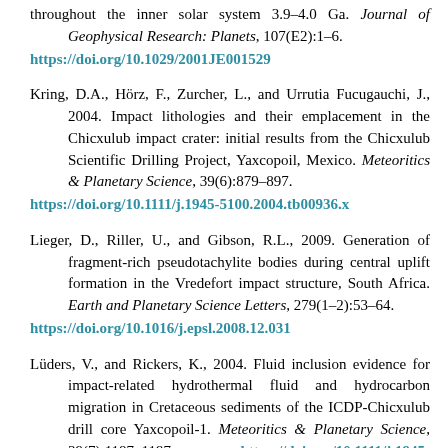throughout the inner solar system 3.9–4.0 Ga. Journal of Geophysical Research: Planets, 107(E2):1–6. https://doi.org/10.1029/2001JE001529
Kring, D.A., Hörz, F., Zurcher, L., and Urrutia Fucugauchi, J., 2004. Impact lithologies and their emplacement in the Chicxulub impact crater: initial results from the Chicxulub Scientific Drilling Project, Yaxcopoil, Mexico. Meteoritics & Planetary Science, 39(6):879–897. https://doi.org/10.1111/j.1945-5100.2004.tb00936.x
Lieger, D., Riller, U., and Gibson, R.L., 2009. Generation of fragment-rich pseudotachylite bodies during central uplift formation in the Vredefort impact structure, South Africa. Earth and Planetary Science Letters, 279(1–2):53–64. https://doi.org/10.1016/j.epsl.2008.12.031
Lüders, V., and Rickers, K., 2004. Fluid inclusion evidence for impact-related hydrothermal fluid and hydrocarbon migration in Cretaceous sediments of the ICDP-Chicxulub drill core Yaxcopoil-1. Meteoritics & Planetary Science, 39(7):1187–1197. https://doi.org/10.1111/j.1945-5100.2004.tb01136.x